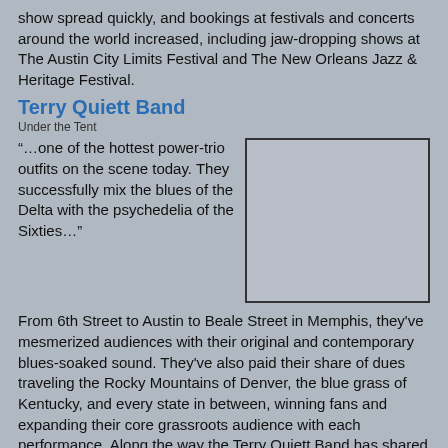show spread quickly, and bookings at festivals and concerts around the world increased, including jaw-dropping shows at The Austin City Limits Festival and The New Orleans Jazz & Heritage Festival.
Terry Quiett Band
Under the Tent
“…one of the hottest power-trio outfits on the scene today. They successfully mix the blues of the Delta with the psychedelia of the Sixties…”
[Figure (photo): Empty placeholder image box]
From 6th Street to Austin to Beale Street in Memphis, they've mesmerized audiences with their original and contemporary blues-soaked sound. They've also paid their share of dues traveling the Rocky Mountains of Denver, the blue grass of Kentucky, and every state in between, winning fans and expanding their core grassroots audience with each performance. Along the way the Terry Quiett Band has shared the stage with international guitar legends including Jonny Lang, Robert Cray, 38 Special, the Doobie Brothers, Edgar Winter, Kenny Wayne Shephard, Walter Trout, Robin Trower, Tab Benoit, Robert Randolph and Devon Allman as